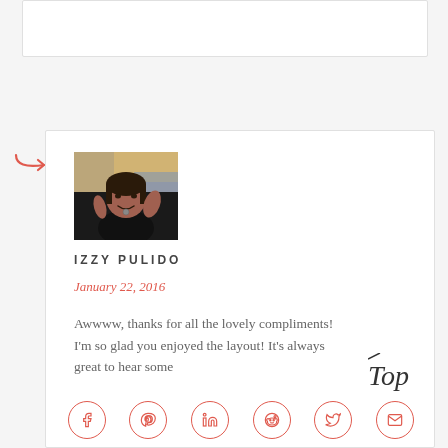[Figure (other): Partial top of another comment card, white rectangle with border]
[Figure (other): Red/coral curved arrow (reply indicator) pointing right]
[Figure (photo): Profile photo of a woman waving, wearing black, at what appears to be an indoor venue with colorful background]
IZZY PULIDO
January 22, 2016
Awwww, thanks for all the lovely compliments! I'm so glad you enjoyed the layout! It's always great to hear some
[Figure (other): Handwritten-style 'Top' script text used as a back-to-top button]
[Figure (other): Social share icon buttons in a row: Facebook, Pinterest, LinkedIn, Reddit, Twitter, Email — circular outlined icons in coral/red color]